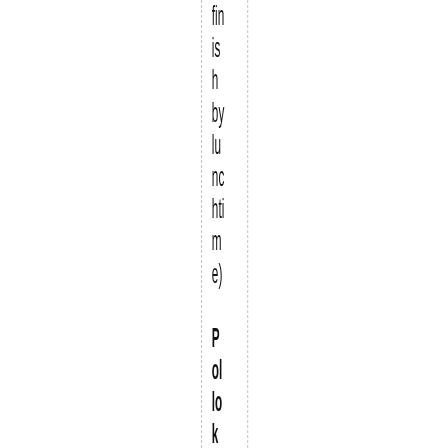finish by lunchtime) Pololok Country Park: 19 Jan, 23 Fe